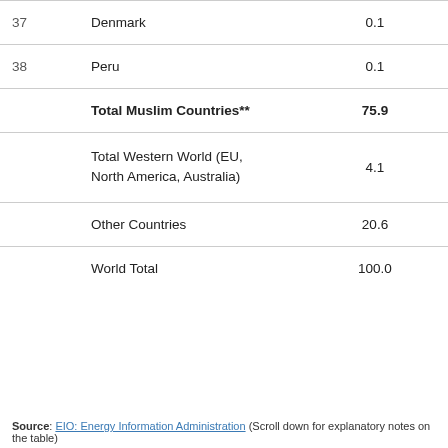| # | Country/Region | % | Amount |
| --- | --- | --- | --- |
| 37 | Denmark | 0.1 | 1.3 |
| 38 | Peru | 0.1 | 0.9 |
|  | Total Muslim Countries** | 75.9 | 822.1 |
|  | Total Western World (EU, North America, Australia) | 4.1 | 44.8 |
|  | Other Countries | 20.6 | 214.9 |
|  | World Total | 100.0 | 1,081.8 |
Source: EIO: Energy Information Administration (Scroll down for explanatory notes on the table)